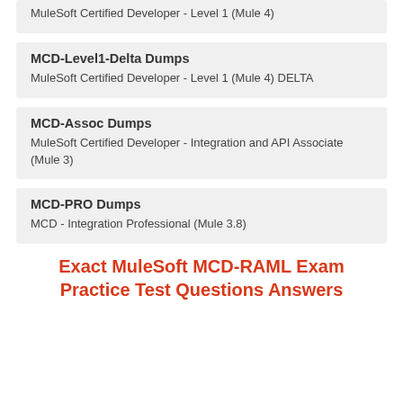MuleSoft Certified Developer - Level 1 (Mule 4)
MCD-Level1-Delta Dumps
MuleSoft Certified Developer - Level 1 (Mule 4) DELTA
MCD-Assoc Dumps
MuleSoft Certified Developer - Integration and API Associate (Mule 3)
MCD-PRO Dumps
MCD - Integration Professional (Mule 3.8)
Exact MuleSoft MCD-RAML Exam Practice Test Questions Answers